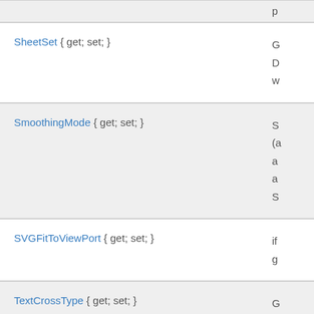| Property | Description |
| --- | --- |
| SheetSet { get; set; } | G
D
w |
| SmoothingMode { get; set; } | S
(a
a
a
S |
| SVGFitToViewPort { get; set; } | if
g |
| TextCrossType { get; set; } | G
w
c |